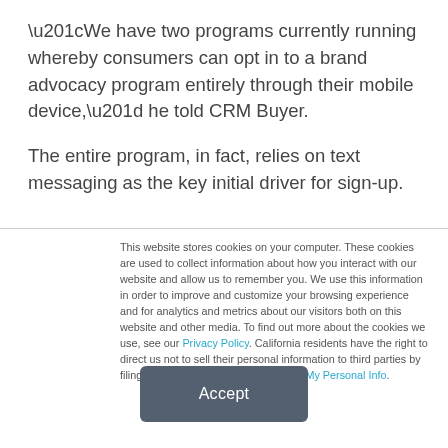“We have two programs currently running whereby consumers can opt in to a brand advocacy program entirely through their mobile device,” he told CRM Buyer.

The entire program, in fact, relies on text messaging as the key initial driver for sign-up.
This website stores cookies on your computer. These cookies are used to collect information about how you interact with our website and allow us to remember you. We use this information in order to improve and customize your browsing experience and for analytics and metrics about our visitors both on this website and other media. To find out more about the cookies we use, see our Privacy Policy. California residents have the right to direct us not to sell their personal information to third parties by filing an Opt-Out Request: Do Not Sell My Personal Info.
Accept